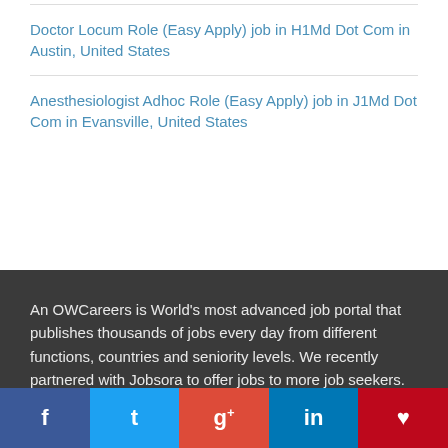Doctor Locum Role (Easy Apply) job in H1Md Dot Com in Austin, United States
Anesthesiologist Adhoc Role (Easy Apply) job in J1Md Dot Com in Evansville, United States
An OWCareers is World's most advanced job portal that publishes thousands of jobs every day from different functions, countries and seniority levels. We recently partnered with Jobsora to offer jobs to more job seekers. Please click Jobs in UAE .
Contact us
European & American Offices - One World Consultants
f  t  g+  in  p